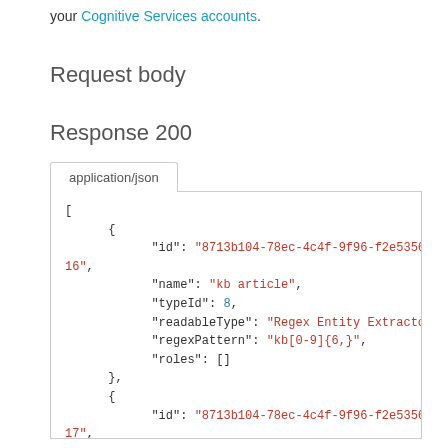your Cognitive Services accounts.
Request body
Response 200
[Figure (screenshot): A JSON response code block with application/json tab showing an array of objects with id, name, typeId, readableType, regexPattern, and roles fields.]